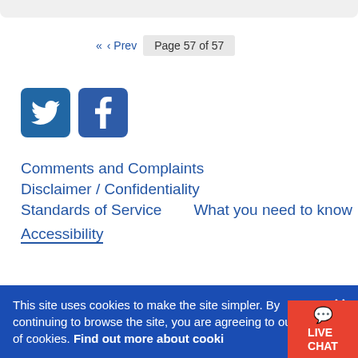Page 57 of 57
[Figure (logo): Twitter bird icon (white on blue square) and Facebook 'f' icon (white on blue square) - social media buttons]
Comments and Complaints
Disclaimer / Confidentiality
Standards of Service
What you need to know
Accessibility
This site uses cookies to make the site simpler. By continuing to browse the site, you are agreeing to our use of cookies. Find out more about cookies
[Figure (other): Live Chat button - red background with chat bubble icon and text LIVE CHAT]